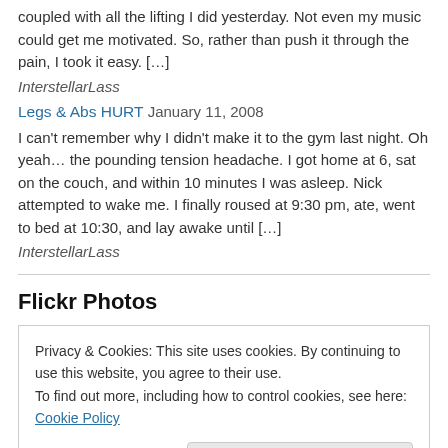coupled with all the lifting I did yesterday. Not even my music could get me motivated. So, rather than push it through the pain, I took it easy. […]
InterstellarLass
Legs & Abs HURT January 11, 2008
I can't remember why I didn't make it to the gym last night. Oh yeah… the pounding tension headache. I got home at 6, sat on the couch, and within 10 minutes I was asleep. Nick attempted to wake me. I finally roused at 9:30 pm, ate, went to bed at 10:30, and lay awake until […]
InterstellarLass
Flickr Photos
Privacy & Cookies: This site uses cookies. By continuing to use this website, you agree to their use.
To find out more, including how to control cookies, see here: Cookie Policy
Close and accept
[Figure (photo): Small thumbnail photo showing a person in red, dark background]